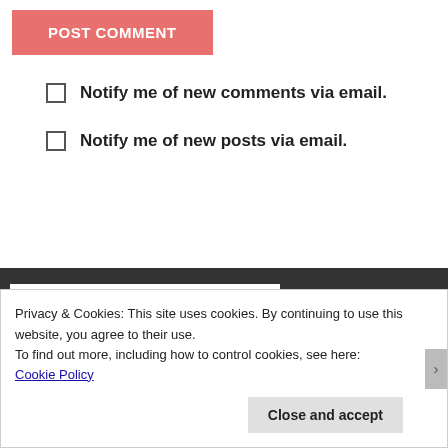[Figure (screenshot): Pink/salmon 'POST COMMENT' button with white uppercase text]
Notify me of new comments via email.
Notify me of new posts via email.
Privacy & Cookies: This site uses cookies. By continuing to use this website, you agree to their use.
To find out more, including how to control cookies, see here: Cookie Policy
Close and accept